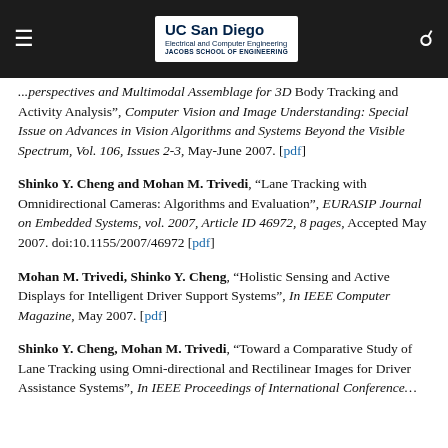UC San Diego Electrical and Computer Engineering Jacobs School of Engineering
...perspectives and Multimodal Assemblage for 3D Body Tracking and Activity Analysis", Computer Vision and Image Understanding: Special Issue on Advances in Vision Algorithms and Systems Beyond the Visible Spectrum, Vol. 106, Issues 2-3, May-June 2007. [pdf]
Shinko Y. Cheng and Mohan M. Trivedi, "Lane Tracking with Omnidirectional Cameras: Algorithms and Evaluation", EURASIP Journal on Embedded Systems, vol. 2007, Article ID 46972, 8 pages, Accepted May 2007. doi:10.1155/2007/46972 [pdf]
Mohan M. Trivedi, Shinko Y. Cheng, "Holistic Sensing and Active Displays for Intelligent Driver Support Systems", In IEEE Computer Magazine, May 2007. [pdf]
Shinko Y. Cheng, Mohan M. Trivedi, "Toward a Comparative Study of Lane Tracking using Omni-directional and Rectilinear Images for Driver Assistance Systems", In IEEE ...